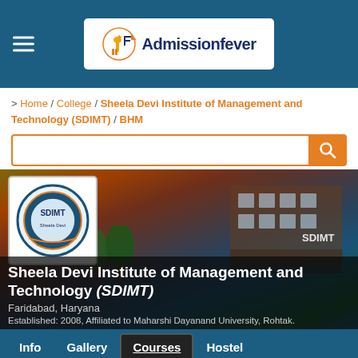Admissionfever
> Home / College / Sheela Devi Institute of Management and Technology (SDIMT) / BHM
[Figure (screenshot): Search bar with orange search button]
[Figure (photo): Sheela Devi Institute of Management and Technology (SDIMT) college building with institute logo overlay. Text overlay: Sheela Devi Institute of Management and Technology (SDIMT), Faridabad, Haryana, Established: 2008, Affiliated to Maharshi Dayanand University, Rohtak.]
Info  Gallery  Courses  Hostel
APPLY NOW